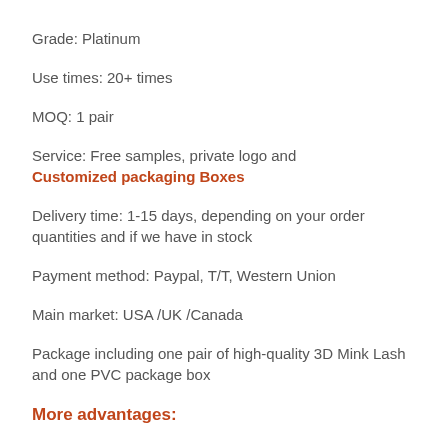Grade: Platinum
Use times: 20+ times
MOQ: 1 pair
Service: Free samples, private logo and Customized packaging Boxes
Delivery time: 1-15 days, depending on your order quantities and if we have in stock
Payment method: Paypal, T/T, Western Union
Main market: USA /UK /Canada
Package including one pair of high-quality 3D Mink Lash and one PVC package box
More advantages: